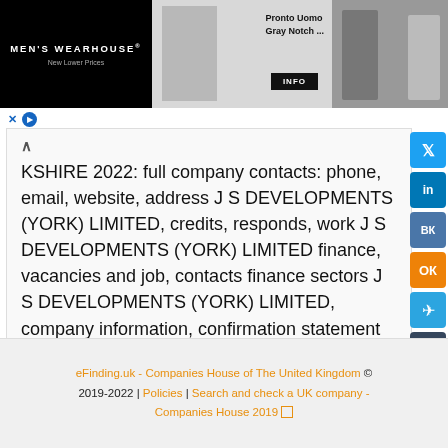[Figure (other): Men's Wearhouse advertisement banner with suit image and couple photo]
KSHIRE 2022: full company contacts: phone, email, website, address J S DEVELOPMENTS (YORK) LIMITED, credits, responds, work J S DEVELOPMENTS (YORK) LIMITED finance, vacancies and job, contacts finance sectors J S DEVELOPMENTS (YORK) LIMITED, company information, confirmation statement (annual return), company accounts
eFinding.uk - Companies House of The United Kingdom © 2019-2022 | Policies | Search and check a UK company - Companies House 2019